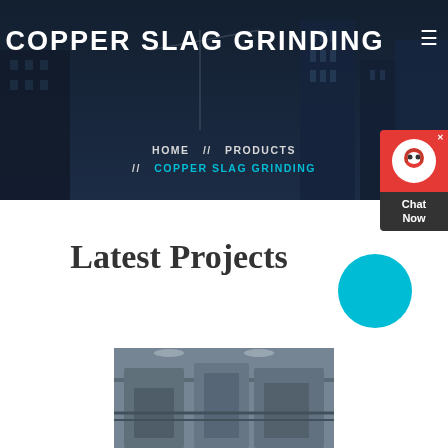COPPER SLAG GRINDING
HOME // PRODUCTS // COPPER SLAG GRINDING
[Figure (screenshot): Chat Now widget with red background, headset icon, and dark label box]
Latest Projects
[Figure (photo): Industrial grinding/crushing machinery inside a facility]